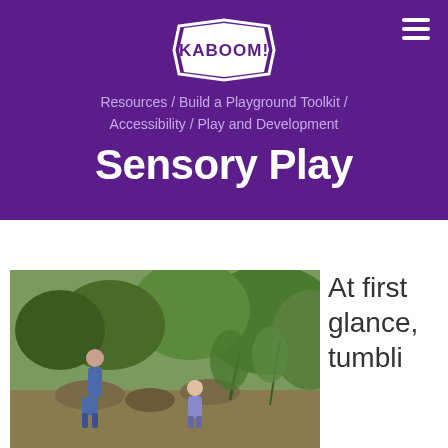[Figure (logo): KaBOOM! logo in white on purple background]
Resources / Build a Playground Toolkit / Accessibility / Play and Development
Sensory Play
[Figure (photo): Two children playing outdoors near rocks and lush green plants in a garden or natural play area]
At first glance, tumbli